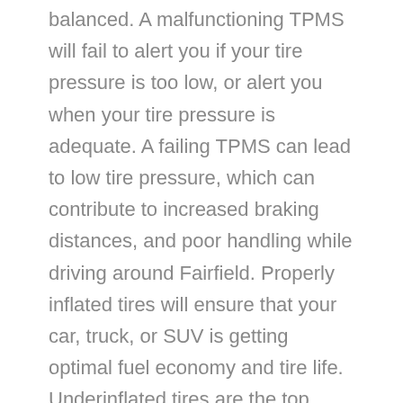balanced. A malfunctioning TPMS will fail to alert you if your tire pressure is too low, or alert you when your tire pressure is adequate. A failing TPMS can lead to low tire pressure, which can contribute to increased braking distances, and poor handling while driving around Fairfield. Properly inflated tires will ensure that your car, truck, or SUV is getting optimal fuel economy and tire life. Underinflated tires are the top cause of tire failure. If you're seeing an illuminated TPMS light on your dashboard, and your